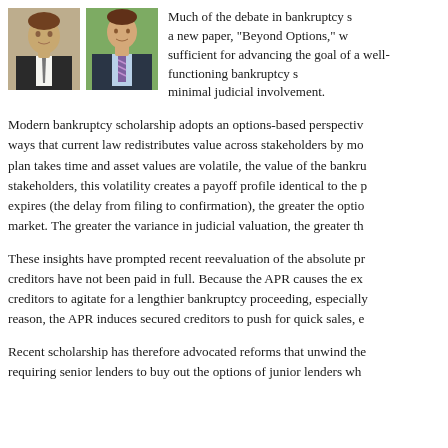[Figure (photo): Two headshot photos of male academics/authors in suits]
Much of the debate in bankruptcy scholarship focuses on... a new paper, "Beyond Options," we argue that... sufficient for advancing the goal of a well-functioning bankruptcy system with minimal judicial involvement.
Modern bankruptcy scholarship adopts an options-based perspective... ways that current law redistributes value across stakeholders by mo... plan takes time and asset values are volatile, the value of the bankru... stakeholders, this volatility creates a payoff profile identical to the p... expires (the delay from filing to confirmation), the greater the optio... market. The greater the variance in judicial valuation, the greater th...
These insights have prompted recent reevaluation of the absolute pr... creditors have not been paid in full. Because the APR causes the ex... creditors to agitate for a lengthier bankruptcy proceeding, especially... reason, the APR induces secured creditors to push for quick sales, e...
Recent scholarship has therefore advocated reforms that unwind the... requiring senior lenders to buy out the options of junior lenders wh...